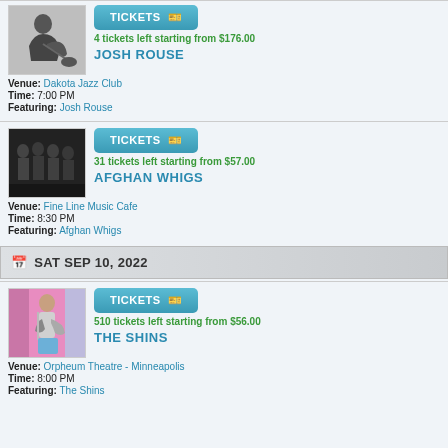[Figure (photo): Black and white photo of Josh Rouse sitting and playing guitar]
TICKETS
4 tickets left starting from $176.00
JOSH ROUSE
Venue: Dakota Jazz Club
Time: 7:00 PM
Featuring: Josh Rouse
[Figure (photo): Dark photo of Afghan Whigs band members standing together]
TICKETS
31 tickets left starting from $57.00
AFGHAN WHIGS
Venue: Fine Line Music Cafe
Time: 8:30 PM
Featuring: Afghan Whigs
SAT SEP 10, 2022
[Figure (photo): Man playing guitar against a pink background - The Shins]
TICKETS
510 tickets left starting from $56.00
THE SHINS
Venue: Orpheum Theatre - Minneapolis
Time: 8:00 PM
Featuring: The Shins